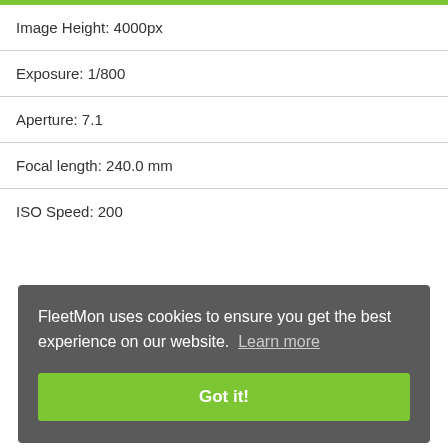Image Height: 4000px
Exposure: 1/800
Aperture: 7.1
Focal length: 240.0 mm
ISO Speed: 200
FleetMon uses cookies to ensure you get the best experience on our website. Learn more
Got it!